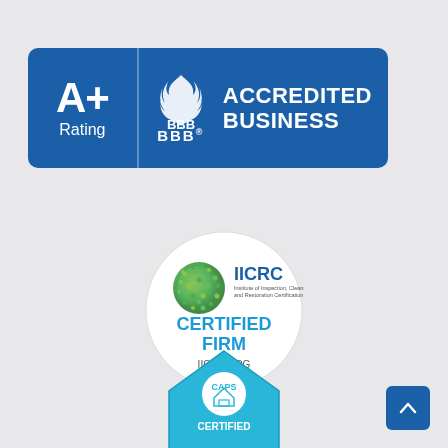[Figure (logo): BBB A+ Rating Accredited Business badge — blue rectangular badge with A+ Rating on the left panel and BBB flame logo with 'ACCREDITED BUSINESS' text on the right panel]
[Figure (logo): IICRC Certified Firm circular badge — white circle with IICRC globe logo and text 'CERTIFIED FIRM IICRC.ORG']
[Figure (logo): CAPS Certified badge — light blue house/shield shaped badge with CAPS logo and 'CERTIFIED' text]